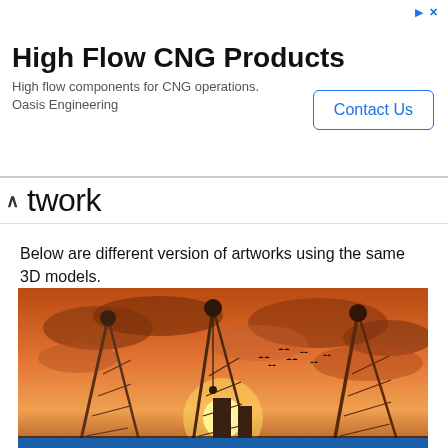[Figure (other): Advertisement banner for High Flow CNG Products by Oasis Engineering with a Contact Us button]
twork
Below are different version of artworks using the same 3D models.
[Figure (photo): Digital artwork/illustration of industrial cranes against a dramatic orange sunset sky with birds flying, featuring a fence in the foreground. Watermark reads MasUN 2016.]